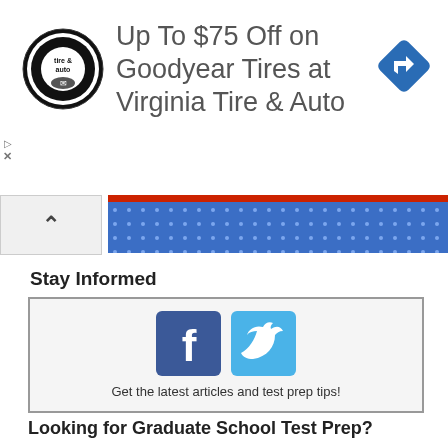[Figure (infographic): Advertisement banner: Virginia Tire & Auto logo (circular black and white tire/auto logo), text 'Up To $75 Off on Goodyear Tires at Virginia Tire & Auto', blue diamond navigation icon on right. Small play and X icons on left edge.]
[Figure (infographic): Blue navigation tab with red top stripe and white dot pattern, chevron-up icon on left side]
Stay Informed
[Figure (infographic): Box with Facebook and Twitter icons side by side, text below: 'Get the latest articles and test prep tips!']
Looking for Graduate School Test Prep?
Check out our top-rated graduate blogs here:
GRE Online Prep Blog
GMAT Online Prep Blog
TOEFL Online Prep Blog